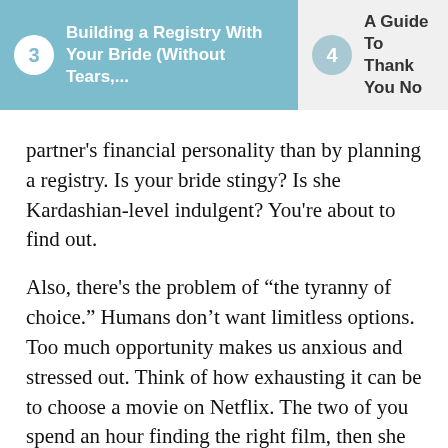3 Building a Registry With Your Bride (Without Tears,...  |  4 A Guide To Thank You No
partner's financial personality than by planning a registry. Is your bride stingy? Is she Kardashian-level indulgent? You're about to find out.
Also, there's the problem of “the tyranny of choice.” Humans don’t want limitless options. Too much opportunity makes us anxious and stressed out. Think of how exhausting it can be to choose a movie on Netflix. The two of you spend an hour finding the right film, then she falls asleep half an hour in.
Registry shopping can have a similar effect. Spend a couple of days deciding which cappuccino maker to go